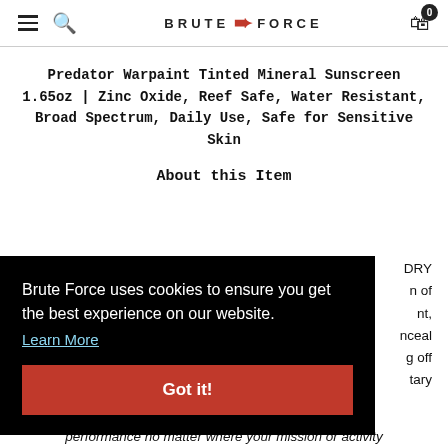BRUTE FORCE — navigation bar with menu, search, logo, and cart (0)
Predator Warpaint Tinted Mineral Sunscreen 1.65oz | Zinc Oxide, Reef Safe, Water Resistant, Broad Spectrum, Daily Use, Safe for Sensitive Skin
About this Item
Brute Force uses cookies to ensure you get the best experience on our website. Learn More
Got it!
DRY ... n of ... nt, ... nceal ... g off ... tary
performance no matter where your mission or activity